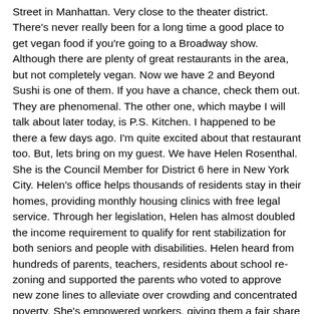Street in Manhattan. Very close to the theater district. There's never really been for a long time a good place to get vegan food if you're going to a Broadway show. Although there are plenty of great restaurants in the area, but not completely vegan. Now we have 2 and Beyond Sushi is one of them. If you have a chance, check them out. They are phenomenal. The other one, which maybe I will talk about later today, is P.S. Kitchen. I happened to be there a few days ago. I'm quite excited about that restaurant too. But, lets bring on my guest. We have Helen Rosenthal. She is the Council Member for District 6 here in New York City. Helen's office helps thousands of residents stay in their homes, providing monthly housing clinics with free legal service. Through her legislation, Helen has almost doubled the income requirement to qualify for rent stabilization for both seniors and people with disabilities. Helen heard from hundreds of parents, teachers, residents about school re-zoning and supported the parents who voted to approve new zone lines to alleviate over crowding and concentrated poverty. She's empowered workers, giving them a fair share of their work through her worker cooperative initiative.